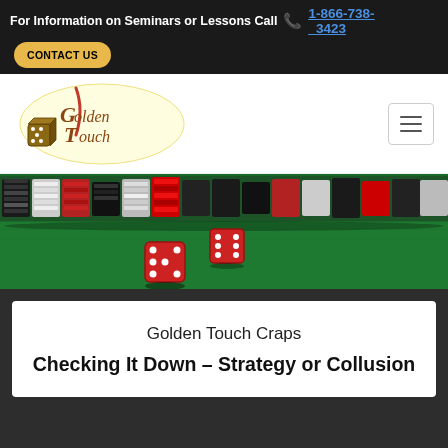For Information on Seminars or Lessons Call 📞 1-866-738-3423  CONTACT US
[Figure (logo): Golden Touch craps logo with dice and cursive/serif text]
[Figure (photo): Casino craps table hero image showing red dice rolling on green felt with stacks of casino chips in the background]
Golden Touch Craps
Checking It Down – Strategy or Collusion